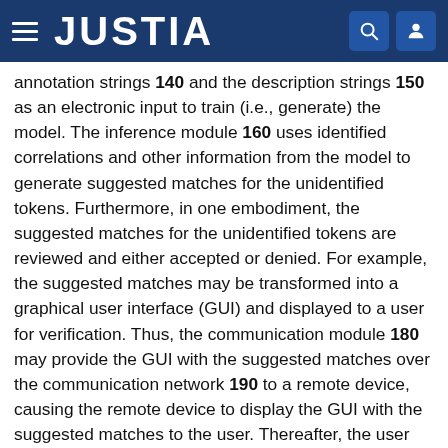JUSTIA
annotation strings 140 and the description strings 150 as an electronic input to train (i.e., generate) the model. The inference module 160 uses identified correlations and other information from the model to generate suggested matches for the unidentified tokens. Furthermore, in one embodiment, the suggested matches for the unidentified tokens are reviewed and either accepted or denied. For example, the suggested matches may be transformed into a graphical user interface (GUI) and displayed to a user for verification. Thus, the communication module 180 may provide the GUI with the suggested matches over the communication network 190 to a remote device, causing the remote device to display the GUI with the suggested matches to the user. Thereafter, the user may selectively verify which of the suggested matches are correct (i.e., which suggested matches should be used to update the